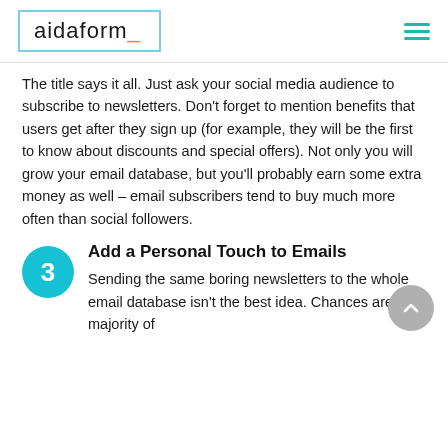aidaform_
The title says it all. Just ask your social media audience to subscribe to newsletters. Don't forget to mention benefits that users get after they sign up (for example, they will be the first to know about discounts and special offers). Not only you will grow your email database, but you'll probably earn some extra money as well – email subscribers tend to buy much more often than social followers.
Add a Personal Touch to Emails
Sending the same boring newsletters to the whole email database isn't the best idea. Chances are the majority of